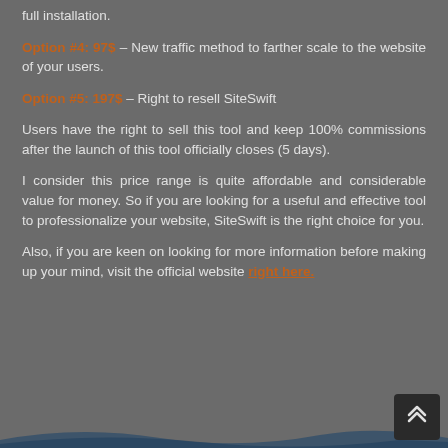full installation.
Option #4: 97$ – New traffic method to farther scale to the website of your users.
Option #5: 197$ – Right to resell SiteSwift
Users have the right to sell this tool and keep 100% commissions after the launch of this tool officially closes (5 days).
I consider this price range is quite affordable and considerable value for money. So if you are looking for a useful and effective tool to professionalize your website, SiteSwift is the right choice for you.
Also, if you are keen on looking for more information before making up your mind, visit the official website right here.